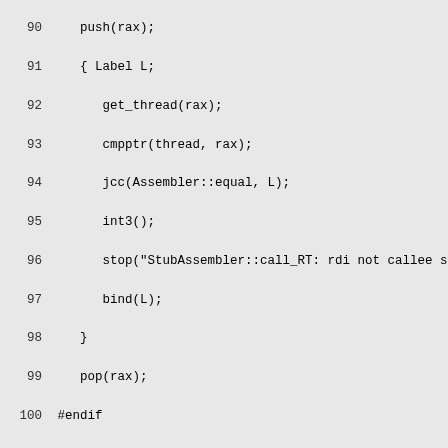Code listing lines 90-119, C++ source code for StubAssembler runtime call handler
90    push(rax);
91    { Label L;
92       get_thread(rax);
93       cmpptr(thread, rax);
94       jcc(Assembler::equal, L);
95       int3();
96       stop("StubAssembler::call_RT: rdi not callee sav
97       bind(L);
98    }
99    pop(rax);
100 #endif
101    reset_last_Java_frame(thread, true);
102
103    // discard thread and arguments
104    NOT_LP64(addptr(rsp, num_rt_args()*BytesPerWord));
105
106    // check for pending exceptions
107    { Label L;
108       cmpptr(Address(thread, Thread::pending_exception
109       jcc(Assembler::equal, L);
110       // exception pending => remove activation and fo
111       movptr(rax, Address(thread, Thread::pending_exce
112       // make sure that the vm_results are cleared
113       if (oop_result1->is_valid()) {
114         movptr(Address(thread, JavaThread::vm_result_0
115       }
116       if (metadata_result->is_valid()) {
117         movptr(Address(thread, JavaThread::vm_result_2
118       }
119       if (frame_size() == no_frame_size) {